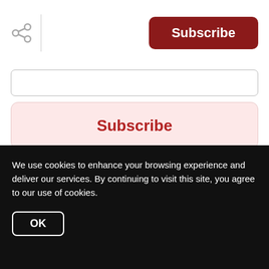Subscribe
[Figure (screenshot): Input field (email entry box)]
[Figure (screenshot): Subscribe button (pink/red background with red text 'Subscribe')]
We respect your inbox. We only send interesting and relevant emails.
We use cookies to enhance your browsing experience and deliver our services. By continuing to visit this site, you agree to our use of cookies.
OK